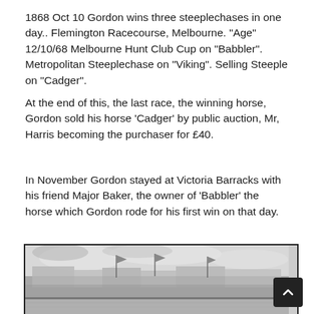1868 Oct 10 Gordon wins three steeplechases in one day.. Flemington Racecourse, Melbourne. "Age" 12/10/68 Melbourne Hunt Club Cup on "Babbler". Metropolitan Steeplechase on "Viking". Selling Steeple on "Cadger".
At the end of this, the last race, the winning horse, Gordon sold his horse 'Cadger' by public auction, Mr, Harris becoming the purchaser for £40.
In November Gordon stayed at Victoria Barracks with his friend Major Baker, the owner of 'Babbler' the horse which Gordon rode for his first win on that day.
[Figure (photo): Grayscale historical illustration of Flemington Racecourse, Melbourne, showing a crowd and flags at a steeplechase event circa 1868.]